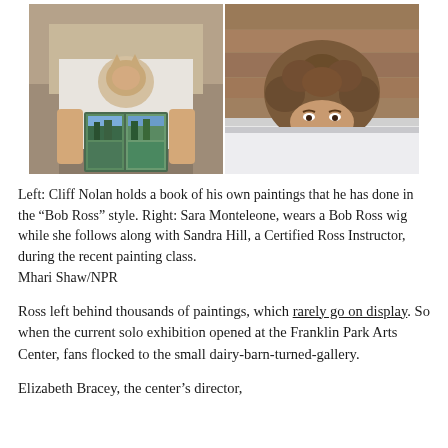[Figure (photo): Two side-by-side photographs: Left photo shows Cliff Nolan from behind, wearing a white t-shirt with a fox/animal print, holding a book of his own paintings done in the Bob Ross style. Right photo shows Sara Monteleone wearing a curly Bob Ross-style wig, peeking over the edge of a white surface, with a wooden background.]
Left: Cliff Nolan holds a book of his own paintings that he has done in the “Bob Ross” style. Right: Sara Monteleone, wears a Bob Ross wig while she follows along with Sandra Hill, a Certified Ross Instructor, during the recent painting class.
Mhari Shaw/NPR
Ross left behind thousands of paintings, which rarely go on display. So when the current solo exhibition opened at the Franklin Park Arts Center, fans flocked to the small dairy-barn-turned-gallery.
Elizabeth Bracey, the center’s director,